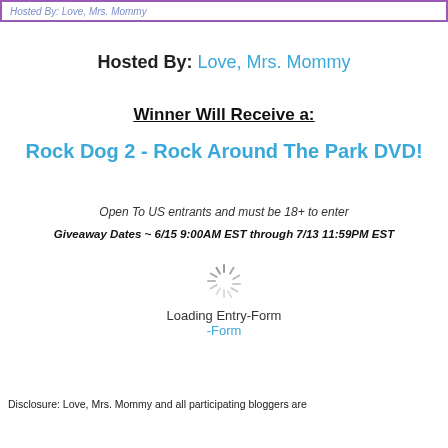Hosted By: Love, Mrs. Mommy
Hosted By: Love, Mrs. Mommy
Winner Will Receive a:
Rock Dog 2 - Rock Around The Park DVD!
Open To US entrants and must be 18+ to enter
Giveaway Dates ~ 6/15 9:00AM EST through 7/13 11:59PM EST
[Figure (other): Loading spinner animation icon]
Loading Entry-Form
-Form
Disclosure: Love, Mrs. Mommy and all participating bloggers are